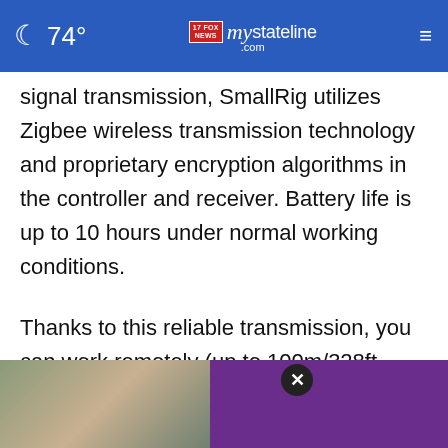☾ 74° | mystateline NEWS .com
signal transmission, SmallRig utilizes Zigbee wireless transmission technology and proprietary encryption algorithms in the controller and receiver. Battery life is up to 10 hours under normal working conditions.
Thanks to this reliable transmission, you can work remotely (up to 100m/328ft away in a barrier-free environment) and still have instant control response – less than 50ms signal delay! Even [partially obscured] r approaching at up to 120km/h (74mph)!!
[Figure (photo): Advertisement overlay showing two men outdoors on the left portion, and a solid purple rectangle on the right portion, with a close (X) button.]